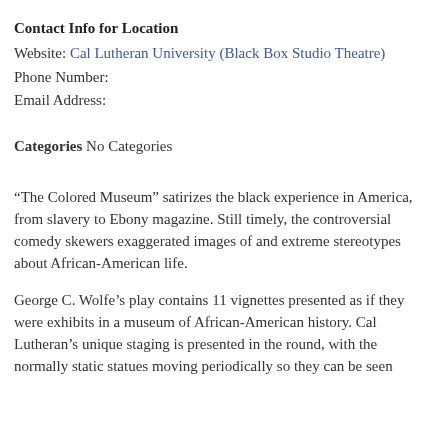Contact Info for Location
Website: Cal Lutheran University (Black Box Studio Theatre)
Phone Number:
Email Address:
Categories No Categories
“The Colored Museum” satirizes the black experience in America, from slavery to Ebony magazine. Still timely, the controversial comedy skewers exaggerated images of and extreme stereotypes about African-American life.
George C. Wolfe’s play contains 11 vignettes presented as if they were exhibits in a museum of African-American history. Cal Lutheran’s unique staging is presented in the round, with the normally static statues moving periodically so they can be seen